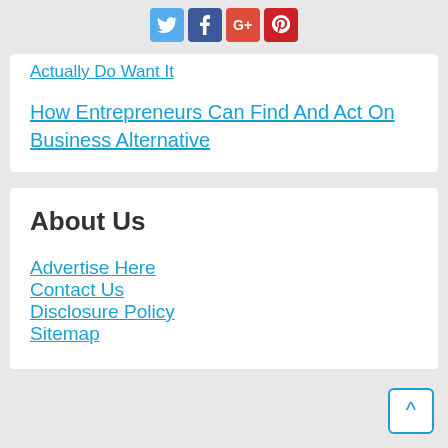[Figure (other): Social media share icons: Twitter (blue bird), Facebook (blue f), Google+ (red G+), Pinterest (red p)]
Actually Do Want It
How Entrepreneurs Can Find And Act On Business Alternative
About Us
Advertise Here
Contact Us
Disclosure Policy
Sitemap